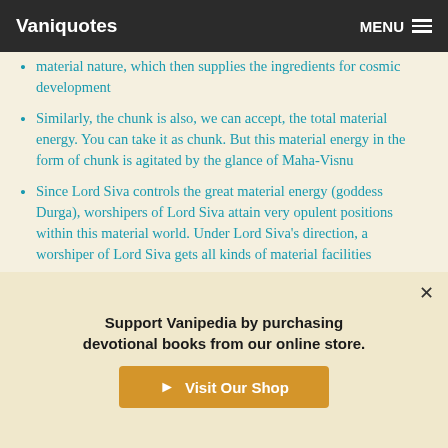Vaniquotes  MENU
material nature, which then supplies the ingredients for cosmic development
Similarly, the chunk is also, we can accept, the total material energy. You can take it as chunk. But this material energy in the form of chunk is agitated by the glance of Maha-Visnu
Since Lord Siva controls the great material energy (goddess Durga), worshipers of Lord Siva attain very opulent positions within this material world. Under Lord Siva's direction, a worshiper of Lord Siva gets all kinds of material facilities
Support Vanipedia by purchasing devotional books from our online store.
Visit Our Shop